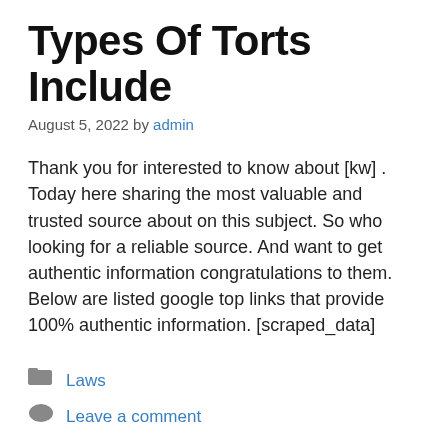Types Of Torts Include
August 5, 2022 by admin
Thank you for interested to know about [kw] . Today here sharing the most valuable and trusted source about on this subject. So who looking for a reliable source. And want to get authentic information congratulations to them. Below are listed google top links that provide 100% authentic information. [scraped_data]
Laws
Leave a comment